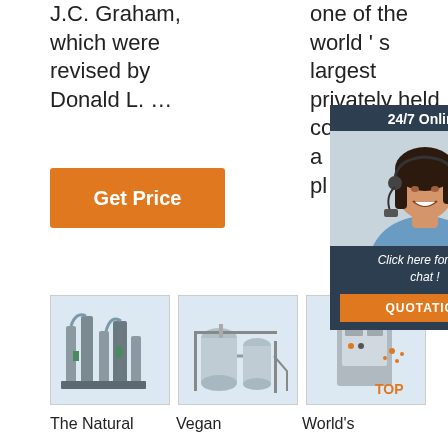J.C. Graham, which were revised by Donald L. …
one of the world ' s largest privately held co… a pl…
[Figure (screenshot): 24/7 Online chat popup with customer service representative photo, 'Click here for free chat!' text, and QUOTATION button]
Get Price
[Figure (photo): Industrial grain milling/processing machinery equipment]
[Figure (photo): Industrial stainless steel processing tanks and equipment]
[Figure (photo): Industrial equipment with TOP badge overlay]
The Natural
Vegan
World's